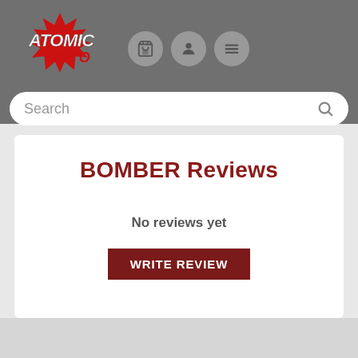[Figure (logo): Atomic Moto logo with red starburst and white/red text]
Search
BOMBER Reviews
No reviews yet
WRITE REVIEW